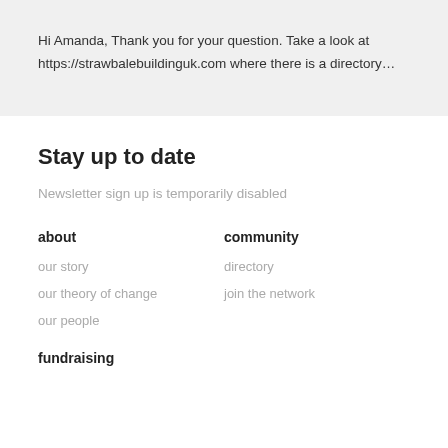Hi Amanda, Thank you for your question. Take a look at https://strawbalebuildinguk.com where there is a directory…
Stay up to date
Newsletter sign up is temporarily disabled
about
community
our story
directory
our theory of change
join the network
our people
fundraising